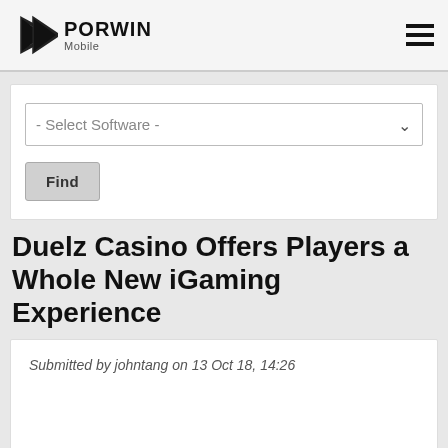PORWIN Mobile
- Select Software -
Find
Duelz Casino Offers Players a Whole New iGaming Experience
Submitted by johntang on 13 Oct 18, 14:26